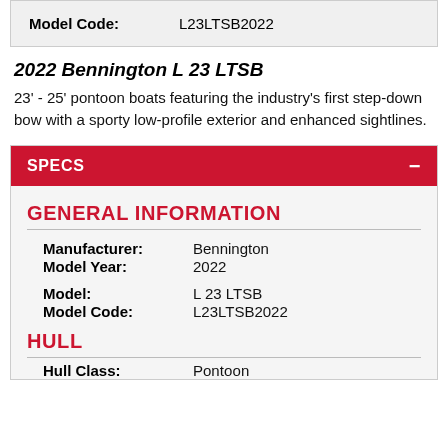| Model Code: | L23LTSB2022 |
| --- | --- |
2022 Bennington L 23 LTSB
23' - 25' pontoon boats featuring the industry's first step-down bow with a sporty low-profile exterior and enhanced sightlines.
SPECS
GENERAL INFORMATION
| Field | Value |
| --- | --- |
| Manufacturer: | Bennington |
| Model Year: | 2022 |
| Model: | L 23 LTSB |
| Model Code: | L23LTSB2022 |
HULL
Hull Class:    Pontoon